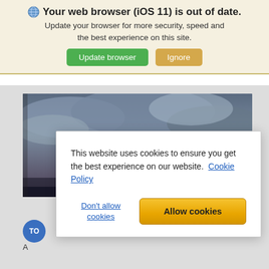Your web browser (iOS 11) is out of date.
Update your browser for more security, speed and the best experience on this site.
[Figure (screenshot): Green 'Update browser' button and tan 'Ignore' button]
[Figure (photo): Dramatic cloudy sky with red and blue tones, partially visible behind a cookie consent modal dialog]
This website uses cookies to ensure you get the best experience on our website. Cookie Policy
Don't allow cookies
Allow cookies